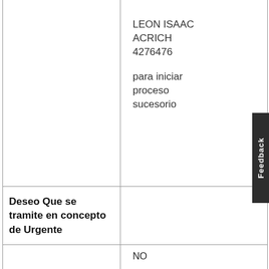LEON ISAAC ACRICH
4276476
para iniciar proceso sucesorio
Deseo Que se tramite en concepto de Urgente
NO